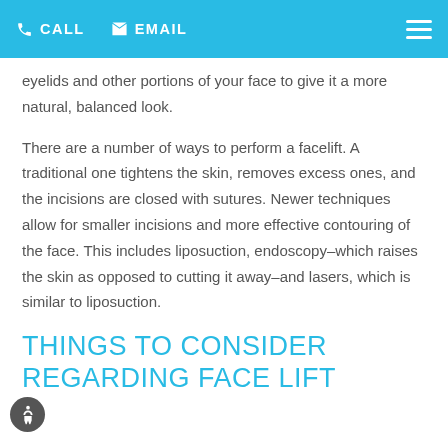CALL   EMAIL
eyelids and other portions of your face to give it a more natural, balanced look.
There are a number of ways to perform a facelift. A traditional one tightens the skin, removes excess ones, and the incisions are closed with sutures. Newer techniques allow for smaller incisions and more effective contouring of the face. This includes liposuction, endoscopy–which raises the skin as opposed to cutting it away–and lasers, which is similar to liposuction.
THINGS TO CONSIDER REGARDING FACE LIFT